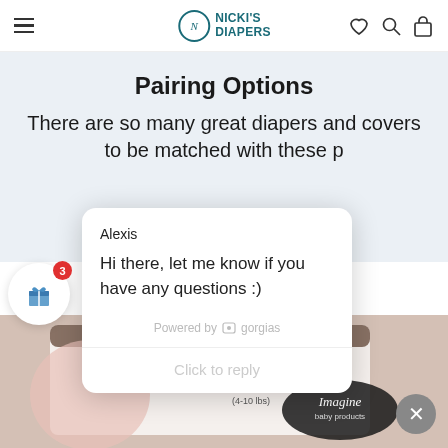Nicki's Diapers — navigation header with menu, logo, heart, search, and cart icons
Pairing Options
There are so many great diapers and covers to be matched with these p…
[Figure (screenshot): Chat popup from Gorgias. Agent name: Alexis. Message: Hi there, let me know if you have any questions :). Powered by Gorgias. Click to reply.]
[Figure (photo): Product photo of Imagine Baby Products Prefold Diapers X-Small Bamboo (4-10 lbs) packaging, pink/white/orange colors.]